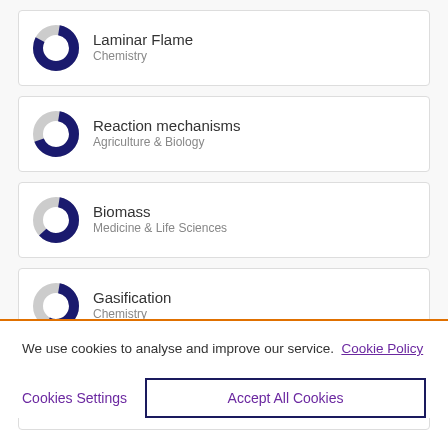Laminar Flame — Chemistry
Reaction mechanisms — Agriculture & Biology
Biomass — Medicine & Life Sciences
Gasification — Chemistry
Gasification — Earth & Environmental Sciences
We use cookies to analyse and improve our service. Cookie Policy
Cookies Settings
Accept All Cookies